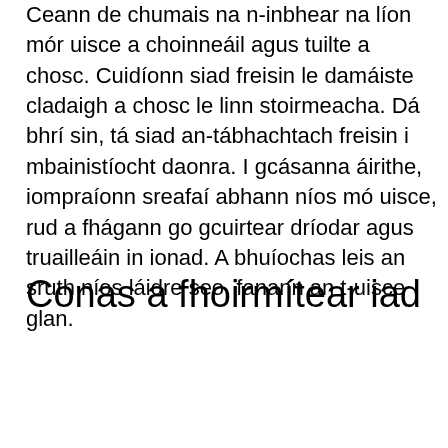Ceann de chumais na n-inbhear na líon mór uisce a choinneáil agus tuilte a chosc. Cuidíonn siad freisin le damáiste cladaigh a chosc le linn stoirmeacha. Dá bhrí sin, tá siad an-tábhachtach freisin i mbainistíocht daonra. I gcásanna áirithe, iompraíonn sreafaí abhann níos mó uisce, rud a fhágann go gcuirtear dríodar agus truailleáin in ionad. A bhuíochas leis an sruth níos láidre seo, fanann an t-uisce glan.
Conas a fhoirmítear iad